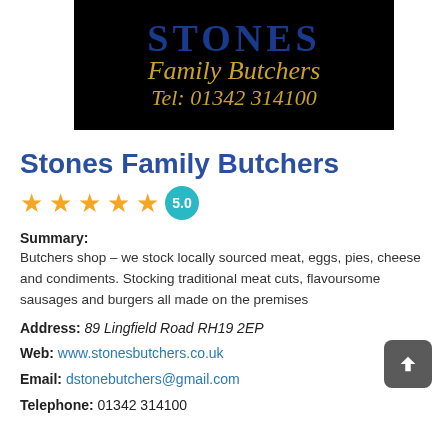[Figure (logo): Stones Family Butchers sign with dark blue STONES text and gold Family Butchers / Tel: 01342 314100 on black background]
Stones Family Butchers
★★★★★ 5.0
Summary: Butchers shop – we stock locally sourced meat, eggs, pies, cheese and condiments. Stocking traditional meat cuts, flavoursome sausages and burgers all made on the premises
Address: 89 Lingfield Road RH19 2EP
Web: www.stonesbutchers.co.uk
Email: dstonebutchers@gmail.com
Telephone: 01342 314100